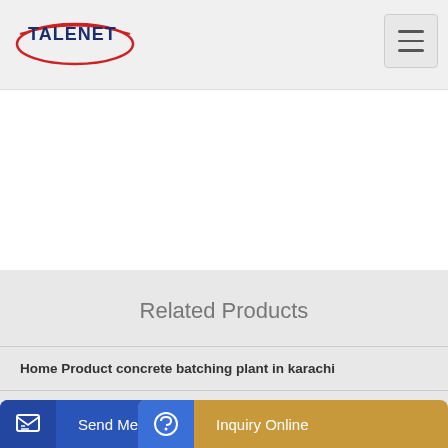[Figure (logo): TALENET logo with red oval swoosh and dark blue text]
Related Products
Home Product concrete batching plant in karachi
mp750 planetary concrete mixer concrete batching plant
tpld 1
Send Message   Inquiry Online